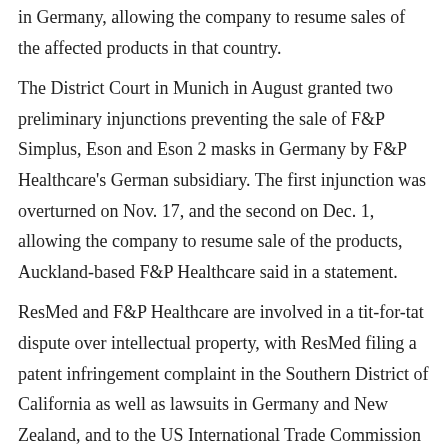in Germany, allowing the company to resume sales of the affected products in that country.
The District Court in Munich in August granted two preliminary injunctions preventing the sale of F&P Simplus, Eson and Eson 2 masks in Germany by F&P Healthcare's German subsidiary. The first injunction was overturned on Nov. 17, and the second on Dec. 1, allowing the company to resume sale of the products, Auckland-based F&P Healthcare said in a statement.
ResMed and F&P Healthcare are involved in a tit-for-tat dispute over intellectual property, with ResMed filing a patent infringement complaint in the Southern District of California as well as lawsuits in Germany and New Zealand, and to the US International Trade Commission against F&P Healthcare in